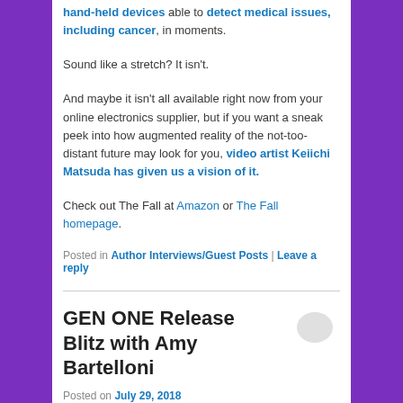hand-held devices able to detect medical issues, including cancer, in moments.
Sound like a stretch? It isn't.
And maybe it isn't all available right now from your online electronics supplier, but if you want a sneak peek into how augmented reality of the not-too-distant future may look for you, video artist Keiichi Matsuda has given us a vision of it.
Check out The Fall at Amazon or The Fall homepage.
Posted in Author Interviews/Guest Posts | Leave a reply
GEN ONE Release Blitz with Amy Bartelloni
Posted on July 29, 2018